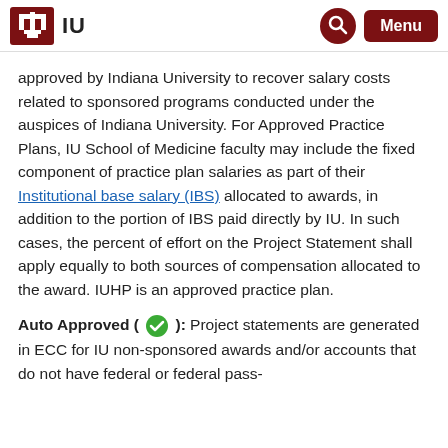IU
approved by Indiana University to recover salary costs related to sponsored programs conducted under the auspices of Indiana University. For Approved Practice Plans, IU School of Medicine faculty may include the fixed component of practice plan salaries as part of their Institutional base salary (IBS) allocated to awards, in addition to the portion of IBS paid directly by IU. In such cases, the percent of effort on the Project Statement shall apply equally to both sources of compensation allocated to the award. IUHP is an approved practice plan.
Auto Approved ( ✓ ): Project statements are generated in ECC for IU non-sponsored awards and/or accounts that do not have federal or federal pass-